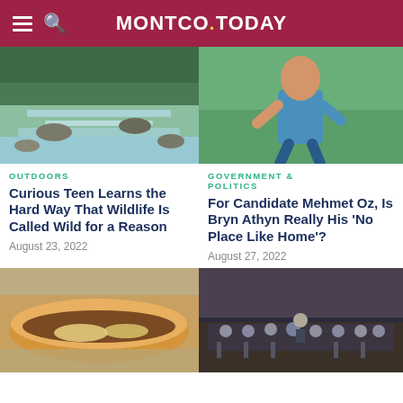MONTCO.TODAY
[Figure (photo): Rocky stream with flowing water and trees in background]
[Figure (photo): Man in blue t-shirt running outdoors]
OUTDOORS
Curious Teen Learns the Hard Way That Wildlife Is Called Wild for a Reason
August 23, 2022
GOVERNMENT & POLITICS
For Candidate Mehmet Oz, Is Bryn Athyn Really His 'No Place Like Home'?
August 27, 2022
[Figure (photo): Close-up of a cheesesteak sandwich wrapped in foil]
[Figure (photo): Orchestra or choral group performing on stage]